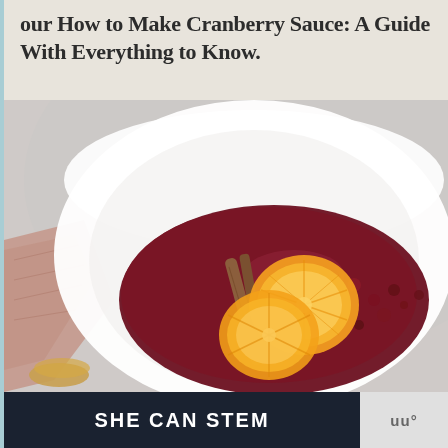our How to Make Cranberry Sauce: A Guide With Everything to Know.
[Figure (photo): Overhead photo of a white bowl containing dark red cranberry sauce, garnished with two orange slices and a cinnamon stick. A pink-checked napkin and a gold spoon are visible to the left.]
SHE CAN STEM